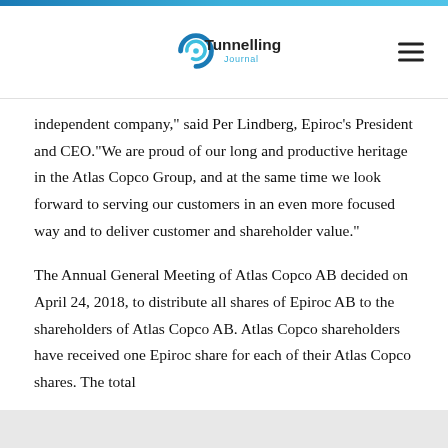[Figure (logo): Tunnelling Journal logo with circular water/globe icon and text 'Tunnelling Journal']
independent company," said Per Lindberg, Epiroc's President and CEO."We are proud of our long and productive heritage in the Atlas Copco Group, and at the same time we look forward to serving our customers in an even more focused way and to deliver customer and shareholder value."
The Annual General Meeting of Atlas Copco AB decided on April 24, 2018, to distribute all shares of Epiroc AB to the shareholders of Atlas Copco AB. Atlas Copco shareholders have received one Epiroc share for each of their Atlas Copco shares. The total